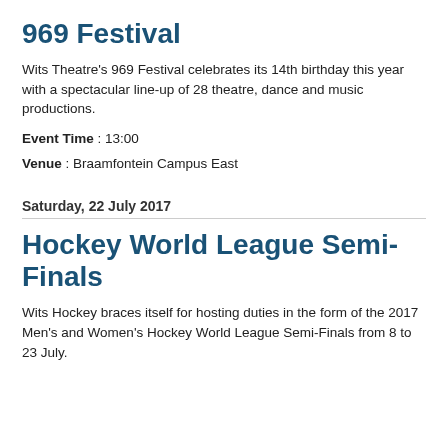969 Festival
Wits Theatre's 969 Festival celebrates its 14th birthday this year with a spectacular line-up of 28 theatre, dance and music productions.
Event Time : 13:00
Venue : Braamfontein Campus East
Saturday, 22 July 2017
Hockey World League Semi-Finals
Wits Hockey braces itself for hosting duties in the form of the 2017 Men's and Women's Hockey World League Semi-Finals from 8 to 23 July.